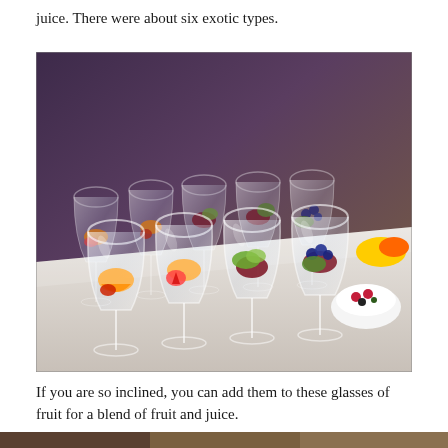juice. There were about six exotic types.
[Figure (photo): Multiple wine glasses filled with assorted fresh fruit — oranges, strawberries, kiwi, blueberries — arranged on a white marble table at a catered event. Bottles and a small bowl with berries visible in the background.]
If you are so inclined, you can add them to these glasses of fruit for a blend of fruit and juice.
[Figure (photo): Partial view of another photo at the bottom of the page, cropped off.]